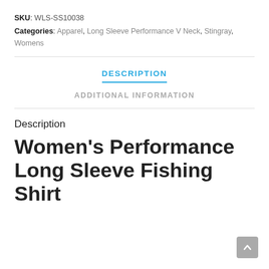SKU: WLS-SS10038
Categories: Apparel, Long Sleeve Performance V Neck, Stingray, Womens
DESCRIPTION
ADDITIONAL INFORMATION
Description
Women's Performance Long Sleeve Fishing Shirt